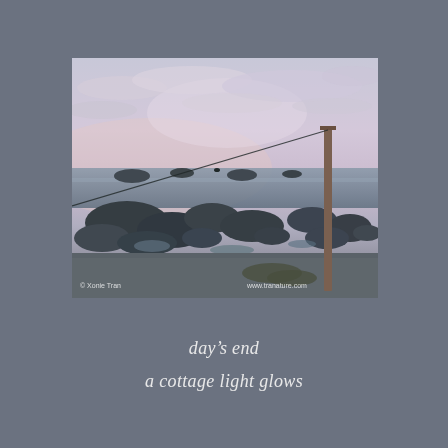[Figure (photo): Coastal twilight scene at low tide. Rocky shoreline with dark volcanic rocks in the foreground, tidal pools reflecting the dusky sky. A wooden utility pole stands on the right side with a wire stretching diagonally across the scene to the left. The sea is visible beyond the rocks, and the sky is a soft pastel gradient of lavender, pink, and pale blue with scattered clouds. Watermarks read '© Xonie Tran' on the lower left and 'www.tranature.com' on the lower right.]
day's end
a cottage light glows